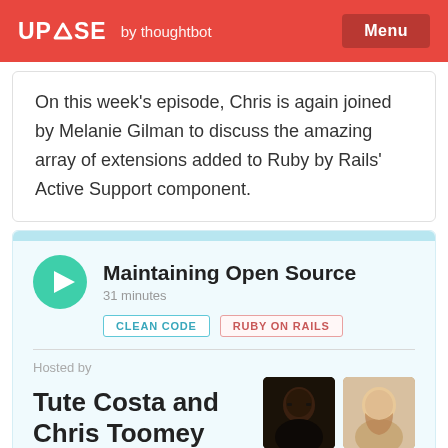UPCASE by thoughtbot  Menu
On this week's episode, Chris is again joined by Melanie Gilman to discuss the amazing array of extensions added to Ruby by Rails' Active Support component.
Maintaining Open Source
31 minutes
CLEAN CODE   RUBY ON RAILS
Hosted by
Tute Costa and Chris Toomey
[Figure (photo): Two circular/rounded avatar photos of the hosts: Tute Costa (dark hair, glasses) and Chris Toomey (beard, lighter complexion)]